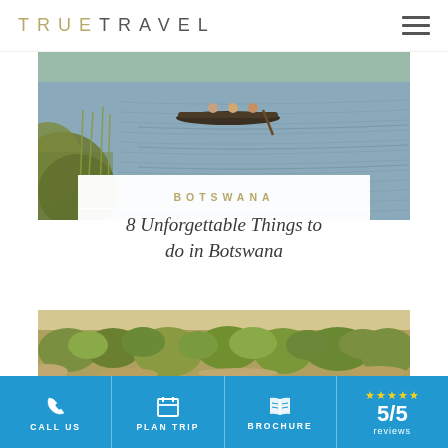TRUE TRAVEL
[Figure (photo): Aerial view of a mokoro (dugout canoe) with passengers gliding across a waterway in the Okavango Delta, Botswana, with ripple patterns in the water and green vegetation visible on the left bank]
BOTSWANA
8 Unforgettable Things to do in Botswana
[Figure (photo): Aerial view of green bush and scrubland in Botswana, with a mix of yellow-green and dark green vegetation viewed from above]
CALL US   PLAN TRIP   BROCHURE   5/5 reviews